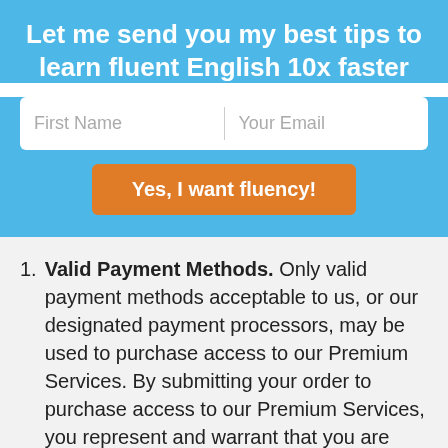Let me send you my best tips to learn fluent English 10x faster
[Figure (screenshot): Email signup form with First Name and Your Email fields and a 'Yes, I want fluency!' orange button]
Valid Payment Methods. Only valid payment methods acceptable to us, or our designated payment processors, may be used to purchase access to our Premium Services. By submitting your order to purchase access to our Premium Services, you represent and warrant that you are authorized to use your designated payment method and